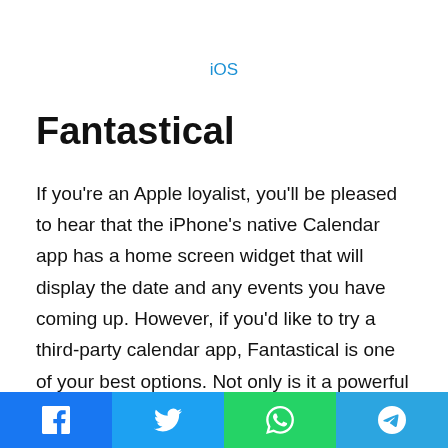iOS
Fantastical
If you’re an Apple loyalist, you’ll be pleased to hear that the iPhone's native Calendar app has a home screen widget that will display the date and any events you have coming up. However, if you'd like to try a third-party calendar app, Fantastical is one of your best options. Not only is it a powerful calendar and personal organizer, but its iOS 14 home screen widget offers a great way of keeping up with your appointments, events, and daily tasks. One advantage it has over the native Calendar widget is that its own widget offers more options as to what is displayed in it, ranging from a simple date and time to a full calendar with the weather, your